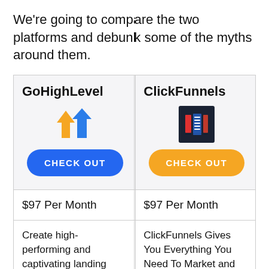We're going to compare the two platforms and debunk some of the myths around them.
| GoHighLevel | ClickFunnels |
| --- | --- |
| [GoHighLevel logo: up arrows] CHECK OUT | [ClickFunnels logo box] CHECK OUT |
| $97 Per Month | $97 Per Month |
| Create high-performing and captivating landing pages all in one place! | ClickFunnels Gives You Everything You Need To Market and sell Your |